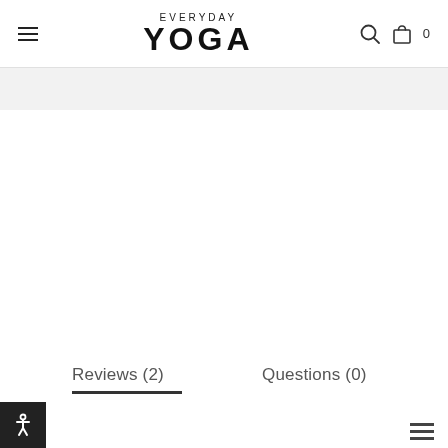EVERYDAY YOGA navigation header with hamburger menu, search icon, and cart (0)
Reviews (2)
Questions (0)